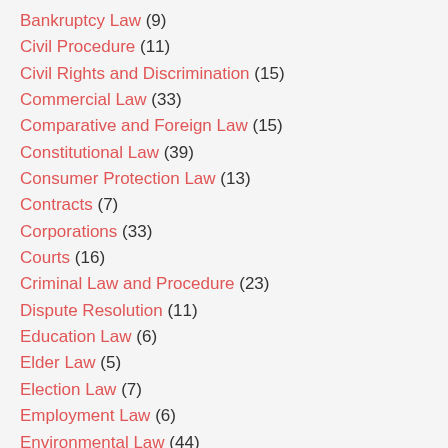Bankruptcy Law (9)
Civil Procedure (11)
Civil Rights and Discrimination (15)
Commercial Law (33)
Comparative and Foreign Law (15)
Constitutional Law (39)
Consumer Protection Law (13)
Contracts (7)
Corporations (33)
Courts (16)
Criminal Law and Procedure (23)
Dispute Resolution (11)
Education Law (6)
Elder Law (5)
Election Law (7)
Employment Law (6)
Environmental Law (44)